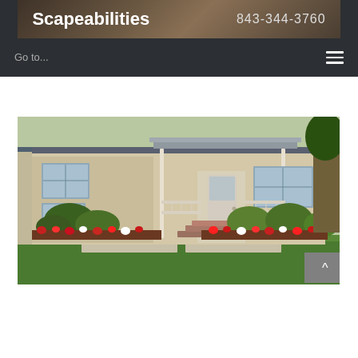Scapeabilities  843-344-3760
Go to...
[Figure (photo): Exterior photo of a single-story house with white siding, front porch with white railings, steps leading to front door, neatly trimmed round bushes, colorful flower beds with red and white flowers, and green lawn in the foreground.]